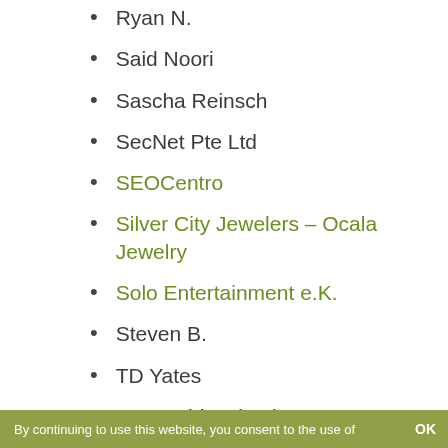Ryan N.
Said Noori
Sascha Reinsch
SecNet Pte Ltd
SEOCentro
Silver City Jewelers – Ocala Jewelry
Solo Entertainment e.K.
Steven B.
TD Yates
Tero Pohjasniemi
TK
Tomas
Tomer Margalit
Top 50 VPN
Unauthed 401
Uwe Klosa
By continuing to use this website, you consent to the use of   OK